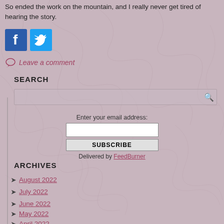So ended the work on the mountain, and I really never get tired of hearing the story.
[Figure (illustration): Facebook and Twitter social share buttons (blue square icons)]
Leave a comment
SEARCH
[Figure (screenshot): Search input box with magnifying glass icon]
Enter your email address:
[Figure (screenshot): Email subscription form with input field, SUBSCRIBE button, and Delivered by FeedBurner link]
ARCHIVES
August 2022
July 2022
June 2022
May 2022
April 2022